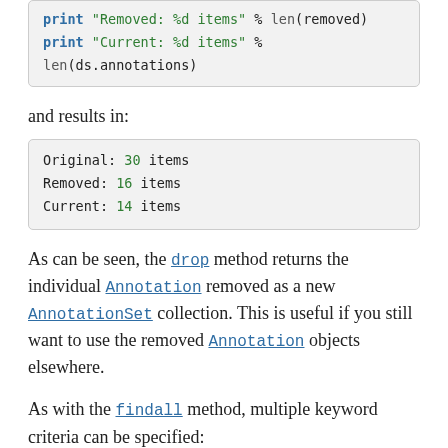print "Removed: %d items" % len(removed)
print "Current: %d items" % len(ds.annotations)
and results in:
Original: 30 items
Removed: 16 items
Current: 14 items
As can be seen, the drop method returns the individual Annotation removed as a new AnnotationSet collection. This is useful if you still want to use the removed Annotation objects elsewhere.
As with the findall method, multiple keyword criteria can be specified:
import dendropy
ds = dendropy.DataSet.get_from_path("sample1.xml",
        "nexml")
ds.annotations.drop(name_prefix="dc",
name="contributor")
In addition, again similar in behavior to the findall method, no keyword arguments result in all the